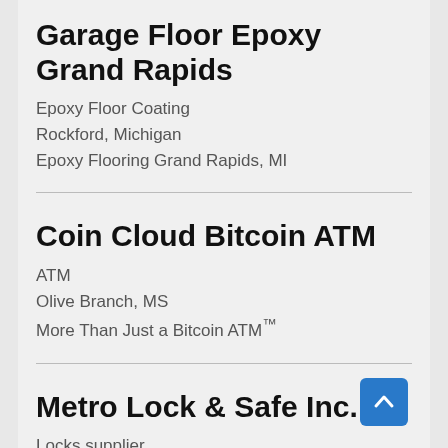Garage Floor Epoxy Grand Rapids
Epoxy Floor Coating
Rockford, Michigan
Epoxy Flooring Grand Rapids, MI
Coin Cloud Bitcoin ATM
ATM
Olive Branch, MS
More Than Just a Bitcoin ATM™
Metro Lock & Safe Inc.
Locks supplier
Phoenix, Arizona